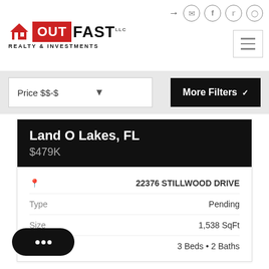[Figure (logo): OutFast Realty & Investments logo with red OUT box and black FAST text]
Price $$-$
More Filters
Land O Lakes, FL
$479K
| Field | Value |
| --- | --- |
| 📍 | 22376 STILLWOOD DRIVE |
| Type | Pending |
| Size | 1,538 SqFt |
|  | 3 Beds • 2 Baths |